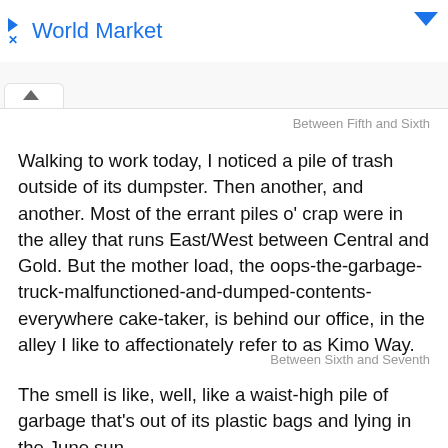World Market
Between Fifth and Sixth
Walking to work today, I noticed a pile of trash outside of its dumpster. Then another, and another. Most of the errant piles o' crap were in the alley that runs East/West between Central and Gold. But the mother load, the oops-the-garbage-truck-malfunctioned-and-dumped-contents-everywhere cake-taker, is behind our office, in the alley I like to affectionately refer to as Kimo Way.
Between Sixth and Seventh
The smell is like, well, like a waist-high pile of garbage that's out of its plastic bags and lying in the June sun.